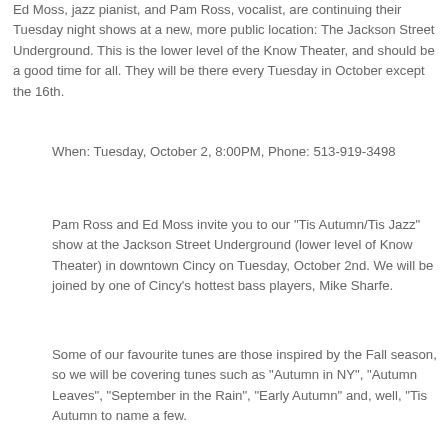Ed Moss, jazz pianist, and Pam Ross, vocalist, are continuing their Tuesday night shows at a new, more public location: The Jackson Street Underground. This is the lower level of the Know Theater, and should be a good time for all. They will be there every Tuesday in October except the 16th.
When: Tuesday, October 2, 8:00PM, Phone: 513-919-3498
Pam Ross and Ed Moss invite you to our "Tis Autumn/Tis Jazz" show at the Jackson Street Underground (lower level of Know Theater) in downtown Cincy on Tuesday, October 2nd. We will be joined by one of Cincy's hottest bass players, Mike Sharfe.
Some of our favourite tunes are those inspired by the Fall season, so we will be covering tunes such as "Autumn in NY", "Autumn Leaves", "September in the Rain", "Early Autumn" and, well, "Tis Autumn to name a few.